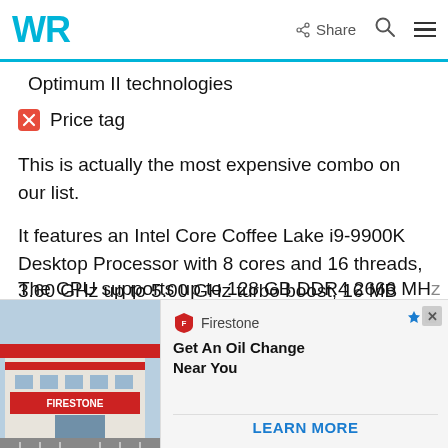WR  Share  [search] [menu]
Optimum II technologies
Price tag
This is actually the most expensive combo on our list.
It features an Intel Core Coffee Lake i9-9900K Desktop Processor with 8 cores and 16 threads, 3.60 GHz up to 5.00 GHz turbo boost, 16 MB Intel Smart Cache, and Intel UHD Graphics 630.
The CPU supports up to 128 GB DDR4 2666 MHz
[Figure (screenshot): Firestone advertisement banner showing a Firestone auto service store building with text 'Get An Oil Change Near You' and a 'LEARN MORE' call to action button]